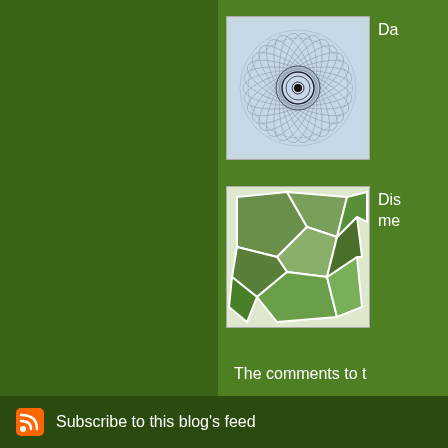[Figure (screenshot): Blog webpage screenshot showing green background with sidebar containing thumbnail images and text links, a comments section, a previous post area, a 'Where I've Been Y...' content box, and a footer with RSS subscribe link.]
Da
[Figure (illustration): Circular spirograph-like pattern thumbnail]
Dis me
[Figure (illustration): Geometric polygon pattern thumbnail in green and white]
The comments to t
P
Where I've Been Y
wait long enough to thing starts to take
Subscribe to this blog's feed